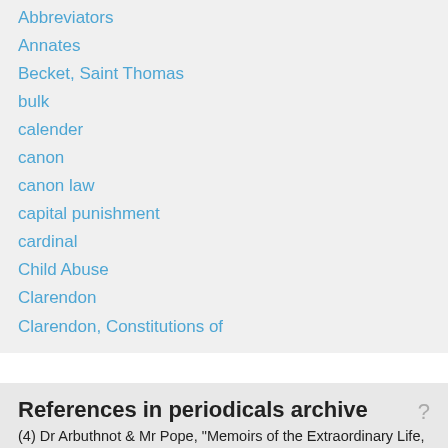Abbreviators
Annates
Becket, Saint Thomas
bulk
calender
canon
canon law
capital punishment
cardinal
Child Abuse
Clarendon
Clarendon, Constitutions of
References in periodicals archive
(4) Dr Arbuthnot & Mr Pope, "Memoirs of the Extraordinary Life, Works, and Discoveries of Martinus Scriblerus" in The Works of Alexander Pope, Esq, vol 3, Part 2 (London: Dodsley, 1742) at 122.
Farr & Beyond: Lawyers for the Otherworldly
This brings us back to JPMorgan Chase and Alexander Pope. In addition...